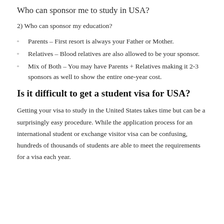Who can sponsor me to study in USA?
2) Who can sponsor my education?
Parents – First resort is always your Father or Mother.
Relatives – Blood relatives are also allowed to be your sponsor.
Mix of Both – You may have Parents + Relatives making it 2-3 sponsors as well to show the entire one-year cost.
Is it difficult to get a student visa for USA?
Getting your visa to study in the United States takes time but can be a surprisingly easy procedure. While the application process for an international student or exchange visitor visa can be confusing, hundreds of thousands of students are able to meet the requirements for a visa each year.